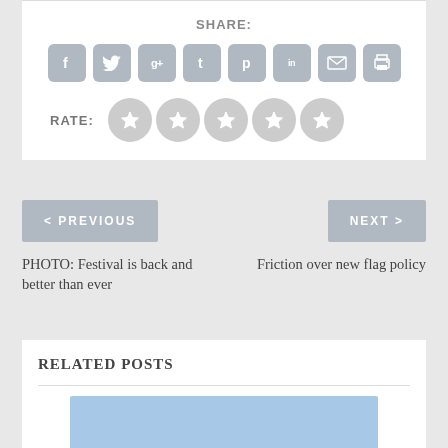SHARE:
[Figure (infographic): Row of 8 social sharing icon buttons: Facebook (f), Twitter (bird), Google+ (g+), Tumblr (t), Pinterest (p), LinkedIn (in), Email (envelope), Print (printer)]
RATE:
[Figure (infographic): 5 star rating circles in grey]
< PREVIOUS
NEXT >
PHOTO: Festival is back and better than ever
Friction over new flag policy
RELATED POSTS
[Figure (photo): Blue/sky colored image placeholder for a related post thumbnail]